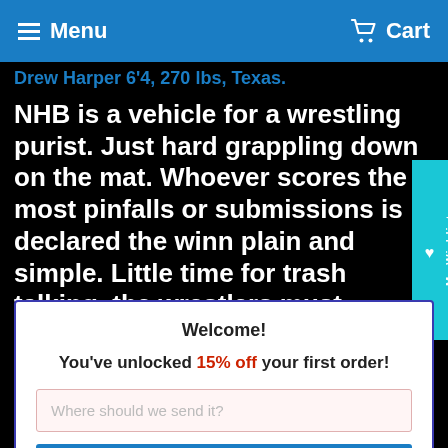Menu   Cart
Drew Harper 6'4, 270 lbs, Texas.
NHB is a vehicle for a wrestling purist. Just hard grappling down on the mat. Whoever scores the most pinfalls or submissions is declared the winn plain and simple. Little time for trash talking, the wrestlers must quickly set about their work. This
My Wishlist
Welcome!
You've unlocked 15% off your first order!
Where should we send it?
GET DISCOUNT NOW